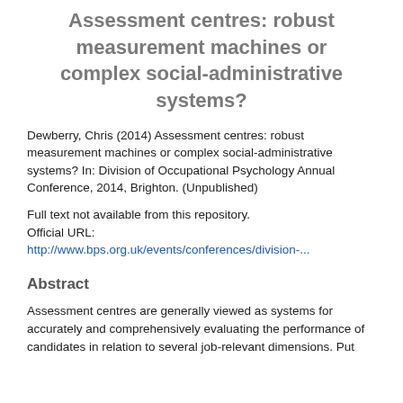Assessment centres: robust measurement machines or complex social-administrative systems?
Dewberry, Chris (2014) Assessment centres: robust measurement machines or complex social-administrative systems? In: Division of Occupational Psychology Annual Conference, 2014, Brighton. (Unpublished)
Full text not available from this repository. Official URL: http://www.bps.org.uk/events/conferences/division-...
Abstract
Assessment centres are generally viewed as systems for accurately and comprehensively evaluating the performance of candidates in relation to several job-relevant dimensions. Put